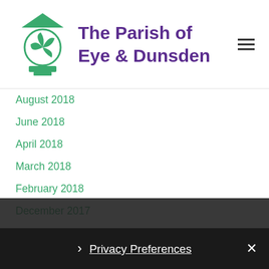[Figure (logo): The Parish of Eye & Dunsden logo with green lantern/fan icon and purple text]
August 2018
June 2018
April 2018
March 2018
February 2018
December 2017
October 2017
September 2017
June 2017
May 2017
April 2017
March 2017
Privacy Preferences